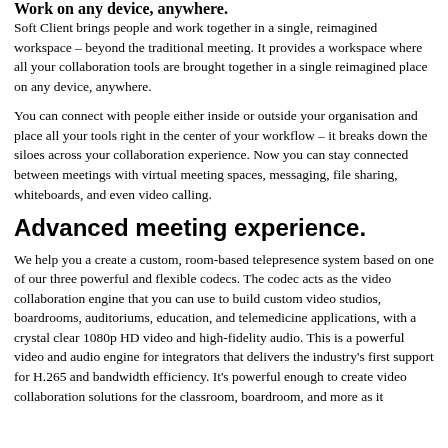Work on any device, anywhere.
Soft Client brings people and work together in a single, reimagined workspace – beyond the traditional meeting. It provides a workspace where all your collaboration tools are brought together in a single reimagined place on any device, anywhere.
You can connect with people either inside or outside your organisation and place all your tools right in the center of your workflow – it breaks down the siloes across your collaboration experience. Now you can stay connected between meetings with virtual meeting spaces, messaging, file sharing, whiteboards, and even video calling.
Advanced meeting experience.
We help you a create a custom, room-based telepresence system based on one of our three powerful and flexible codecs. The codec acts as the video collaboration engine that you can use to build custom video studios, boardrooms, auditoriums, education, and telemedicine applications, with a crystal clear 1080p HD video and high-fidelity audio. This is a powerful video and audio engine for integrators that delivers the industry's first support for H.265 and bandwidth efficiency. It's powerful enough to create video collaboration solutions for the classroom, boardroom, and more as it